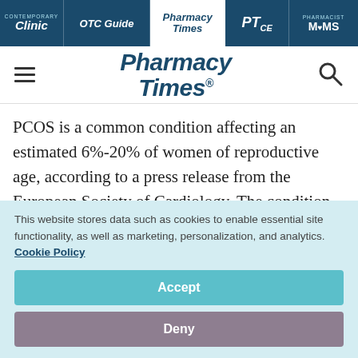Clinic | OTC Guide | Pharmacy Times | PTce | Pharmacist MOMS
[Figure (logo): Pharmacy Times logo with hamburger menu and search icon]
PCOS is a common condition affecting an estimated 6%-20% of women of reproductive age, according to a press release from the European Society of Cardiology. The condition is characterized by multiple cysts on the ovaries
This website stores data such as cookies to enable essential site functionality, as well as marketing, personalization, and analytics. Cookie Policy
Accept
Deny